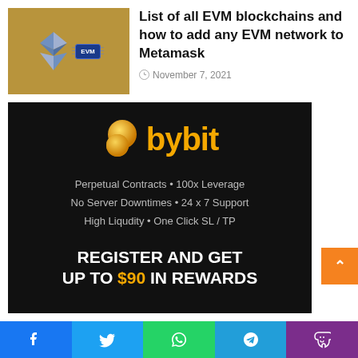[Figure (illustration): Thumbnail image showing Ethereum diamond logo and a blue EVM chip on a golden/olive background]
List of all EVM blockchains and how to add any EVM network to Metamask
November 7, 2021
[Figure (illustration): Bybit advertisement banner on black background with golden coin logo, bybit text in orange, features list, and register promotion for up to $90 in rewards]
Facebook | Twitter | WhatsApp | Telegram | Phone